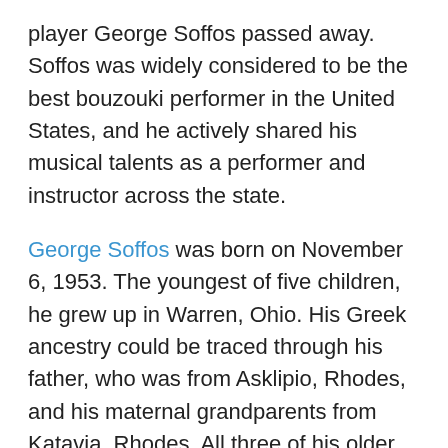player George Soffos passed away. Soffos was widely considered to be the best bouzouki performer in the United States, and he actively shared his musical talents as a performer and instructor across the state.
George Soffos was born on November 6, 1953. The youngest of five children, he grew up in Warren, Ohio. His Greek ancestry could be traced through his father, who was from Asklipio, Rhodes, and his maternal grandparents from Katavia, Rhodes. All three of his older brothers pursued careers in the music industry. When he was fifteen, his parents sent him to study with John Tatasopoulos, the most highly regarded bouzouki player of his day, in Washington DC. Soffos spent two years studying and playing with Tatasopoulos in clubs in the DC area, and at seventeen he began his career as an